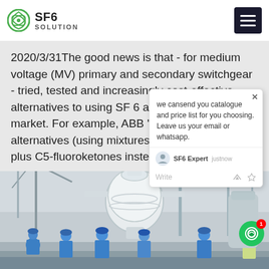SF6 SOLUTION
2020/3/31The good news is that - for medium voltage (MV) primary and secondary switchgear - tried, tested and increasingly cost-effective alternatives to using SF 6 are already on the market. For example, ABB 's AirPlus on alternatives (using mixtures of comp plus C5-fluoroketones instead of SF
[Figure (screenshot): Chat popup overlay showing message: 'we can send you catalogue and price list for you choosing. Leave us your email or whatsapp.' with SF6 Expert label and justnow timestamp, Write input field with like and attachment icons]
[Figure (photo): Industrial/power plant scene with workers in blue hard hats and coveralls inspecting large white cylindrical SF6 switchgear equipment, cranes and industrial structures in background]